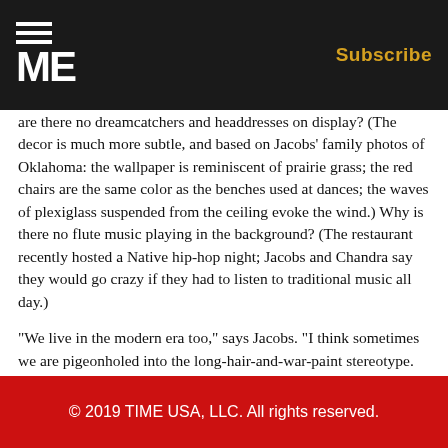ME | Subscribe
are there no dreamcatchers and headdresses on display? (The decor is much more subtle, and based on Jacobs' family photos of Oklahoma: the wallpaper is reminiscent of prairie grass; the red chairs are the same color as the benches used at dances; the waves of plexiglass suspended from the ceiling evoke the wind.) Why is there no flute music playing in the background? (The restaurant recently hosted a Native hip-hop night; Jacobs and Chandra say they would go crazy if they had to listen to traditional music all day.)
"We live in the modern era too," says Jacobs. "I think sometimes we are pigeonholed into the long-hair-and-war-paint stereotype. We are trying to show that we can stay traditional in many aspects of our lives, but be just as contemporary as the rest of people in others."
See TIME's Pictures of the Week.
See the Cartoons of the Week.
© 2019 TIME USA, LLC. All rights reserved.